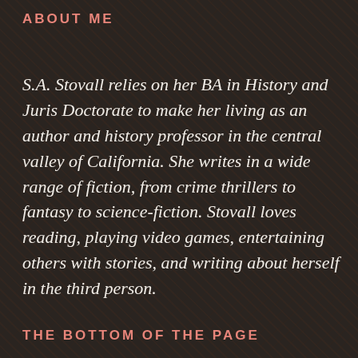ABOUT ME
S.A. Stovall relies on her BA in History and Juris Doctorate to make her living as an author and history professor in the central valley of California. She writes in a wide range of fiction, from crime thrillers to fantasy to science-fiction. Stovall loves reading, playing video games, entertaining others with stories, and writing about herself in the third person.
THE BOTTOM OF THE PAGE